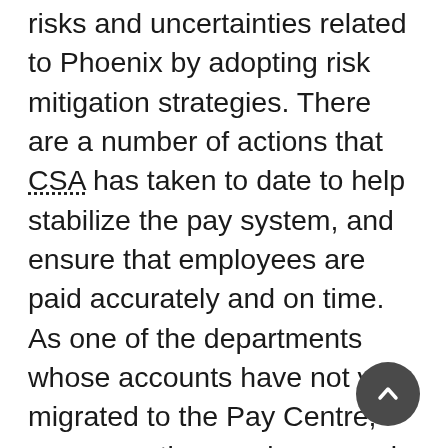risks and uncertainties related to Phoenix by adopting risk mitigation strategies. There are a number of actions that CSA has taken to date to help stabilize the pay system, and ensure that employees are paid accurately and on time. As one of the departments whose accounts have not yet migrated to the Pay Centre, compensation services remain on site. The compensation team, which fluctuates to meet demand, monitors closely for payroll inaccuracies and communicates directly with employees to provide clarification and to take swift action to rectify issues, if needed. The team